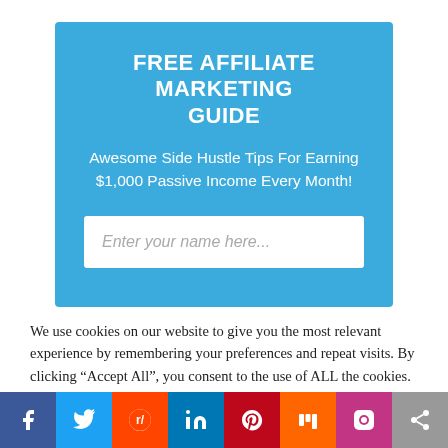FREE AFFILIATE MARKETING GUIDE
Awesome Side Hustle Tips For Earning $1,000 Passive Income Every Month!
Enter your name here...
We use cookies on our website to give you the most relevant experience by remembering your preferences and repeat visits. By clicking "Accept All", you consent to the use of ALL the cookies. However, you may visit "Cookie Settings" to provide a controlled consent.
Cookie Settings
Accept All
[Figure (other): Social media sharing bar with icons for Facebook, Twitter, Reddit, LinkedIn, Pinterest, Mix, Instagram, and Share]